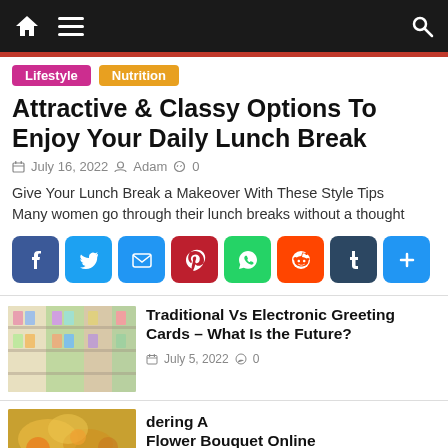Navigation bar with home, menu, and search icons
Lifestyle
Nutrition
Attractive & Classy Options To Enjoy Your Daily Lunch Break
July 16, 2022  Adam  0
Give Your Lunch Break a Makeover With These Style Tips Many women go through their lunch breaks without a thought
[Figure (infographic): Social share buttons: Facebook, Twitter, Email, Pinterest, WhatsApp, Reddit, Tumblr, More]
[Figure (photo): Thumbnail image of greeting cards on a shelf]
Traditional Vs Electronic Greeting Cards – What Is the Future?
July 5, 2022  0
[Figure (infographic): Bottom social share buttons bar: Facebook, Twitter, Email, Pinterest, WhatsApp, Reddit, Tumblr, More]
dering A Flower Bouquet Online